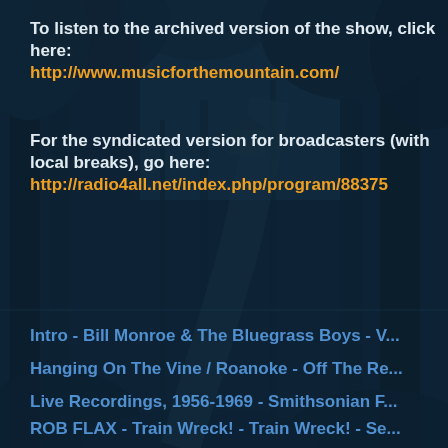[Figure (illustration): Dark teal-toned vintage forest/woodland illustration used as background]
To listen to the archived version of the show, click here:
http://www.musicforthemountain.com/
For the syndicated version for broadcasters (with local breaks), go here:
http://radio4all.net/index.php/program/88375
Intro - Bill Monroe & The Bluegrass Boys - V...
Hanging On The Vine / Roanoke - Off The Re...
Live Recordings, 1956-1969 - Smithsonian F...
ROB FLAX - Train Wreck! - Train Wreck! - Se...